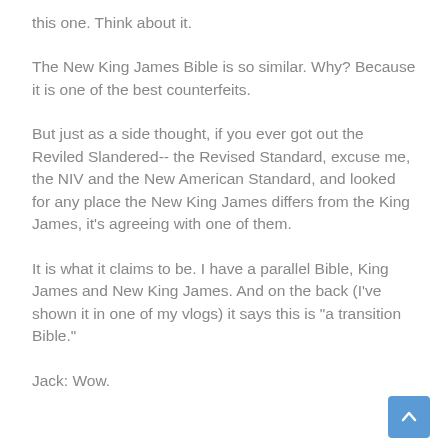this one. Think about it.
The New King James Bible is so similar. Why? Because it is one of the best counterfeits.
But just as a side thought, if you ever got out the Reviled Slandered-- the Revised Standard, excuse me, the NIV and the New American Standard, and looked for any place the New King James differs from the King James, it's agreeing with one of them.
It is what it claims to be. I have a parallel Bible, King James and New King James. And on the back (I've shown it in one of my vlogs) it says this is "a transition Bible."
Jack: Wow.